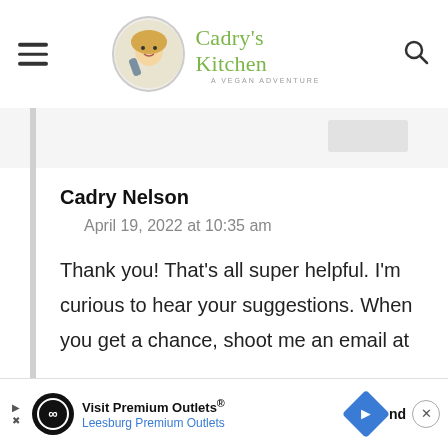Cadry's Kitchen — A Vegan Adventure
Cadry Nelson
April 19, 2022 at 10:35 am
Thank you! That's all super helpful. I'm curious to hear your suggestions. When you get a chance, shoot me an email at
[Figure (infographic): Advertisement banner: Visit Premium Outlets® Leesburg Premium Outlets with logo and navigation icons]